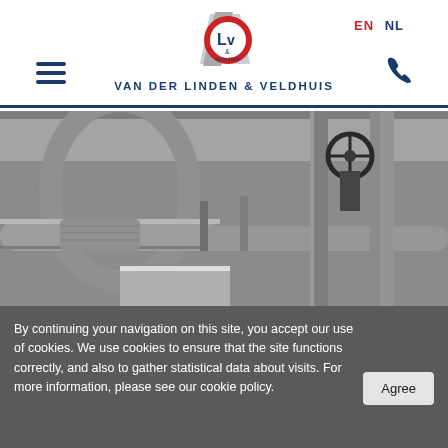EN  NL  VAN DER LINDEN & VELDHUIS
[Figure (logo): Van der Linden & Veldhuis logo with L&V circular emblem in red, white and blue]
[Figure (photo): Black and white industrial photo showing large insulated pipes, valves and ductwork inside an industrial facility]
By continuing your navigation on this site, you accept our use of cookies. We use cookies to ensure that the site functions correctly, and also to gather statistical data about visits. For more information, please see our cookie policy.